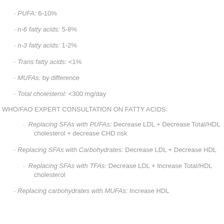· PUFA: 6-10%
· n-6 fatty acids: 5-8%
· n-3 fatty acids: 1-2%
· Trans fatty acids: <1%
· MUFAs: by difference
· Total cholesterol: <300 mg/day
WHO/FAO EXPERT CONSULTATION ON FATTY ACIDS:
· Replacing SFAs with PUFAs: Decrease LDL + Decrease Total/HDL cholesterol + decrease CHD risk
· Replacing SFAs with Carbohydrates: Decrease LDL + Decrease HDL
· Replacing SFAs with TFAs: Decrease LDL + Increase Total/HDL cholesterol
· Replacing carbohydrates with MUFAs: Increase HDL